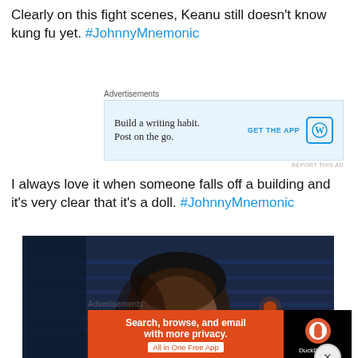Clearly on this fight scenes, Keanu still doesn't know kung fu yet. #JohnnyMnemonic
[Figure (screenshot): Advertisement banner: 'Build a writing habit. Post on the go.' with GET THE APP button and WordPress logo, on light blue background. Labeled 'Advertisements' above.]
I always love it when someone falls off a building and it's very clear that it's a doll. #JohnnyMnemonic
[Figure (photo): Movie still from Johnny Mnemonic: close-up of a man's face in dark blue/dark cinematic lighting]
[Figure (screenshot): Advertisement banner: 'Search, browse, and email with more privacy. All in One Free App' with DuckDuckGo logo on black/orange background. Labeled 'Advertisements' above.]